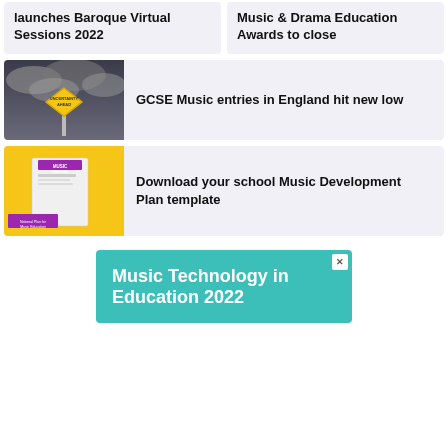launches Baroque Virtual Sessions 2022
Music & Drama Education Awards to close
[Figure (photo): Dark stormy sky with a yellow diamond-shaped warning sign reading 'Uncertainty Ahead']
GCSE Music entries in England hit new low
[Figure (photo): Yellow background with a Music Teacher magazine cover showing 'School Music Development Plan' document]
Download your school Music Development Plan template
[Figure (infographic): Teal/green banner advertisement for 'Music Technology in Education 2022']